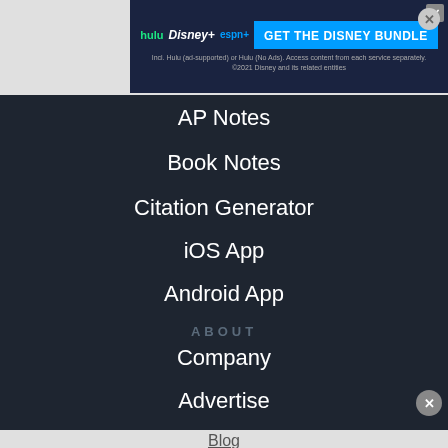[Figure (screenshot): Disney Bundle advertisement banner at top with Hulu, Disney+, ESPN+ logos and GET THE DISNEY BUNDLE button]
AP Notes
Book Notes
Citation Generator
iOS App
Android App
ABOUT
Company
Advertise
Jobs HIRING
Blog
[Figure (screenshot): Disney Bundle advertisement banner (second instance) with Hulu, Disney+, ESPN+ logos and GET THE DISNEY BUNDLE button]
Student Brands